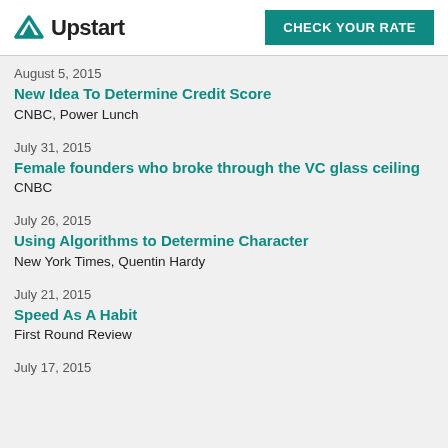Upstart | CHECK YOUR RATE
August 5, 2015
New Idea To Determine Credit Score
CNBC, Power Lunch
July 31, 2015
Female founders who broke through the VC glass ceiling
CNBC
July 26, 2015
Using Algorithms to Determine Character
New York Times, Quentin Hardy
July 21, 2015
Speed As A Habit
First Round Review
July 17, 2015